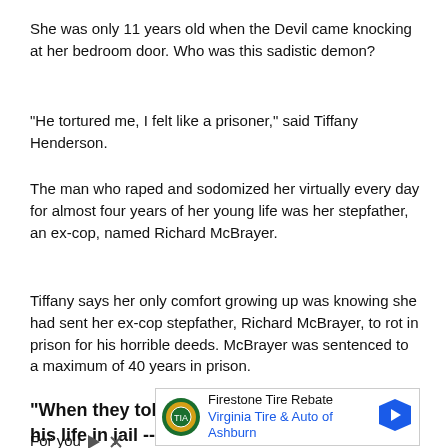She was only 11 years old when the Devil came knocking at her bedroom door. Who was this sadistic demon?
"He tortured me, I felt like a prisoner," said Tiffany Henderson.
The man who raped and sodomized her virtually every day for almost four years of her young life was her stepfather, an ex-cop, named Richard McBrayer.
Tiffany says her only comfort growing up was knowing she had sent her ex-cop stepfather, Richard McBrayer, to rot in prison for his horrible deeds. McBrayer was sentenced to a maximum of 40 years in prison.
"When they told me he was going to spend his life in jail -- I mean, that's what I believed, he can't hurt us anymore," said Tiffany.
For you
[Figure (other): Firestone Tire Rebate advertisement banner for Virginia Tire & Auto of Ashburn with logo and blue arrow icon]